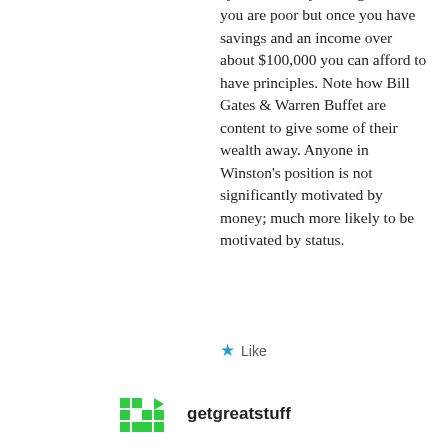cynical. Money is a big deal if you are poor but once you have savings and an income over about $100,000 you can afford to have principles. Note how Bill Gates & Warren Buffet are content to give some of their wealth away. Anyone in Winston's position is not significantly motivated by money; much more likely to be motivated by status.
★ Like
[Figure (logo): getgreatstuff logo with green pixel/block icon and bold text]